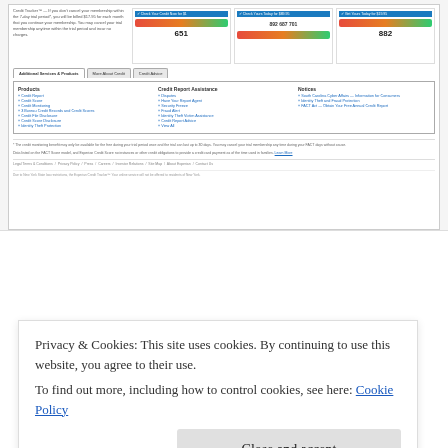[Figure (screenshot): Screenshot of a credit monitoring website showing credit score displays, navigation tabs (Additional Services & Products, More About Credit, Credit Advice), product links, credit report assistance links, notices, footnotes, and footer links.]
BBB CUSTOMER COMPLAINTS SUMMARY
3996 complaints closed with BBB in last 3 years | 2343 closed in last 12 months
Privacy & Cookies: This site uses cookies. By continuing to use this website, you agree to their use.
To find out more, including how to control cookies, see here: Cookie Policy
Close and accept